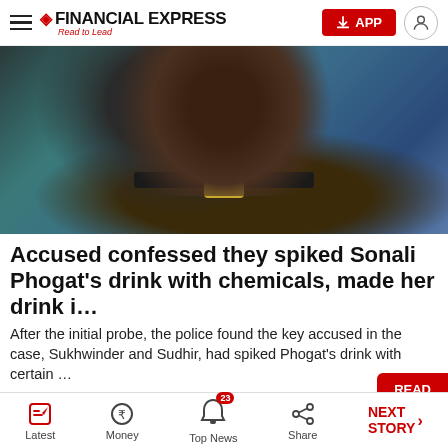FINANCIAL EXPRESS — Read to Lead
[Figure (photo): Person wearing black top and jeans with a Gucci belt, seated on a teal sofa]
Accused confessed they spiked Sonali Phogat's drink with chemicals, made her drink i…
After the initial probe, the police found the key accused in the case, Sukhwinder and Sudhir, had spiked Phogat's drink with certain …
Financial Express
[Figure (photo): Two thumbnail images of people at the bottom of the article feed]
Latest | Money | Top News (23) | Share | NEXT STORY